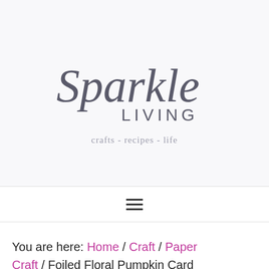[Figure (logo): Sparkle Living logo with script 'Sparkle' text and sans-serif 'LIVING' below, tagline 'crafts - recipes - life']
[Figure (infographic): Hamburger menu icon (three horizontal lines)]
You are here: Home / Craft / Paper Craft / Foiled Floral Pumpkin Card